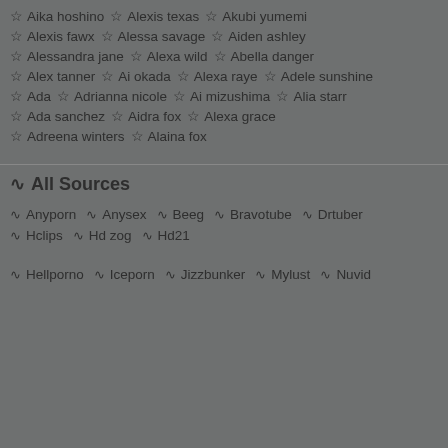☆ Aika hoshino ☆ Alexis texas ☆ Akubi yumemi
☆ Alexis fawx ☆ Alessa savage ☆ Aiden ashley
☆ Alessandra jane ☆ Alexa wild ☆ Abella danger
☆ Alex tanner ☆ Ai okada ☆ Alexa raye ☆ Adele sunshine
☆ Ada ☆ Adrianna nicole ☆ Ai mizushima ☆ Alia starr
☆ Ada sanchez ☆ Aidra fox ☆ Alexa grace
☆ Adreena winters ☆ Alaina fox
》 All Sources
》 Anyporn 》 Anysex 》 Beeg 》 Bravotube 》 Drtuber
》 Hclips 》 Hd zog 》 Hd21
》 Hellporno 》 Iceporn 》 Jizzbunker 》 Mylust 》 Nuvid